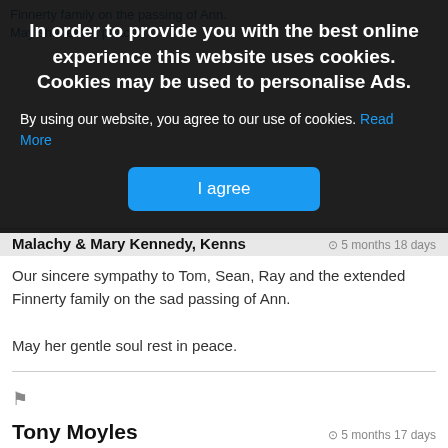Finnerty family on the passing of Ann. May she rest in peace.
[Figure (screenshot): Cookie consent overlay with dark background. Title: 'In order to provide you with the best online experience this website uses cookies. Cookies may be used to personalise Ads.' Body text: 'By using our website, you agree to our use of cookies. Read More'. Button: 'I agree']
Malachy & Mary Kennedy, Kenns | © 5 months 18 days
Our sincere sympathy to Tom, Sean, Ray and the extended Finnerty family on the sad passing of Ann. May her gentle soul rest in peace.
Tony Moyles | © 5 months 17 days
My deepest sympathy to you all. May she rest in peace